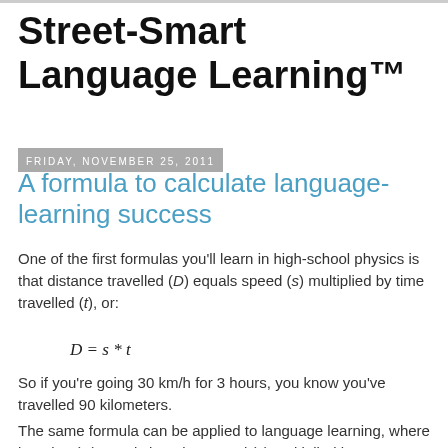Street-Smart Language Learning™
Friday, November 25, 2011
A formula to calculate language-learning success
One of the first formulas you'll learn in high-school physics is that distance travelled (D) equals speed (s) multiplied by time travelled (t), or:
So if you're going 30 km/h for 3 hours, you know you've travelled 90 kilometers.
The same formula can be applied to language learning, where learning (D) equals learning speed (s) multiplied by